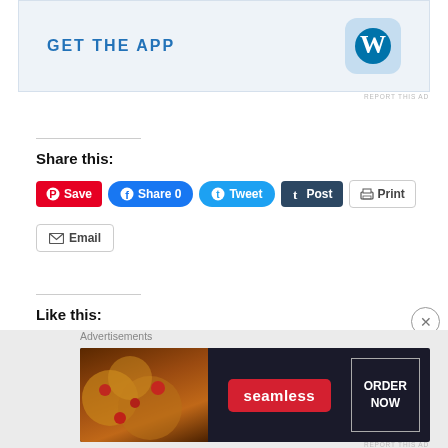[Figure (screenshot): WordPress 'Get the App' advertisement banner with blue WordPress logo icon on light blue background]
REPORT THIS AD
Share this:
[Figure (screenshot): Social sharing buttons: Save (Pinterest), Share 0 (Facebook), Tweet (Twitter), Post (Tumblr), Print]
[Figure (screenshot): Email sharing button]
Like this:
Loading...
Advertisements
[Figure (screenshot): Seamless food delivery advertisement showing pizza slices with ORDER NOW call to action]